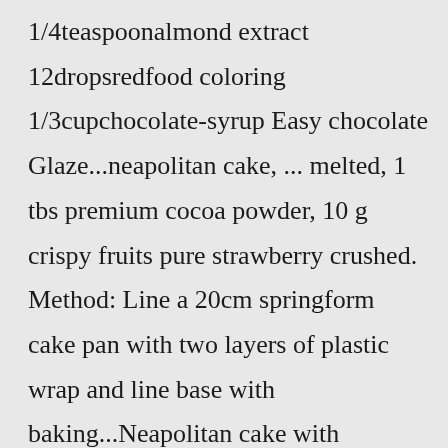1/4teaspoonalmond extract 12dropsredfood coloring 1/3cupchocolate-syrup Easy chocolate Glaze...neapolitan cake, ... melted, 1 tbs premium cocoa powder, 10 g crispy fruits pure strawberry crushed. Method: Line a 20cm springform cake pan with two layers of plastic wrap and line base with baking...Neapolitan cake with strawberries. 21 июн 2018913 просмотров.Jun 22, 2022 · Steps to Make